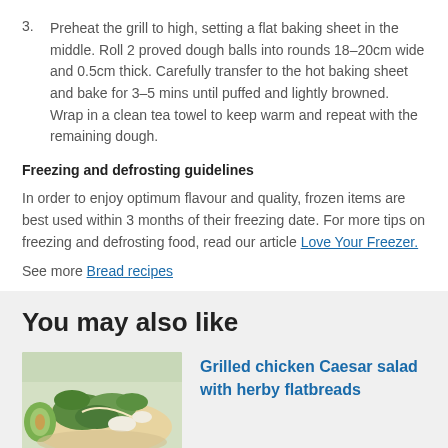3. Preheat the grill to high, setting a flat baking sheet in the middle. Roll 2 proved dough balls into rounds 18–20cm wide and 0.5cm thick. Carefully transfer to the hot baking sheet and bake for 3–5 mins until puffed and lightly browned. Wrap in a clean tea towel to keep warm and repeat with the remaining dough.
Freezing and defrosting guidelines
In order to enjoy optimum flavour and quality, frozen items are best used within 3 months of their freezing date. For more tips on freezing and defrosting food, read our article Love Your Freezer.
See more Bread recipes
You may also like
[Figure (photo): Photo of grilled chicken Caesar salad with herby flatbreads]
Grilled chicken Caesar salad with herby flatbreads